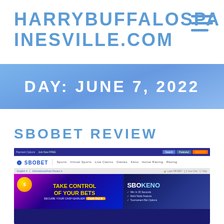HARRYBUFFALOSPAINESVILLE.COM
DAY: JUNE 7, 2022
SBOBET REVIEW
[Figure (screenshot): Screenshot of the SBOBET website homepage showing navigation bar with Sports, Virtual Sports, Live Casino, Games, Keno, Horse Racing, Racing sections, and promotional banners including 'Take Control of Your Bets - Secure Your Cash Earlier Cash Out' and 'SBOKeno' advertisements, plus bottom row of content sections.]